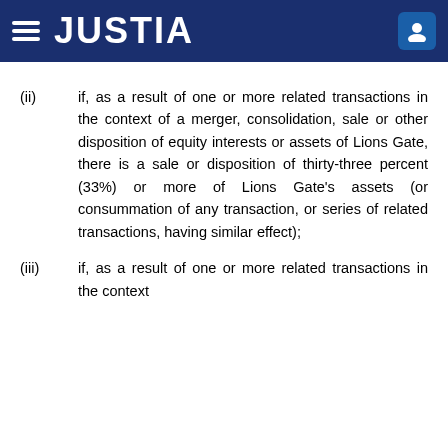JUSTIA
(ii)if, as a result of one or more related transactions in the context of a merger, consolidation, sale or other disposition of equity interests or assets of Lions Gate, there is a sale or disposition of thirty-three percent (33%) or more of Lions Gate's assets (or consummation of any transaction, or series of related transactions, having similar effect);
(iii)if, as a result of one or more related transactions in the context